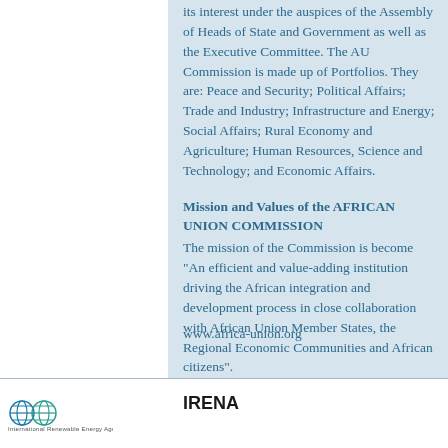its interest under the auspices of the Assembly of Heads of State and Government as well as the Executive Committee. The AU Commission is made up of Portfolios. They are: Peace and Security; Political Affairs; Trade and Industry; Infrastructure and Energy; Social Affairs; Rural Economy and Agriculture; Human Resources, Science and Technology; and Economic Affairs.
Mission and Values of the AFRICAN UNION COMMISSION
The mission of the Commission is become "An efficient and value-adding institution driving the African integration and development process in close collaboration with African Union Member States, the Regional Economic Communities and African citizens".
www.africa-union.org
[Figure (logo): IRENA logo with two circular globe icons in blue/teal]
IRENA